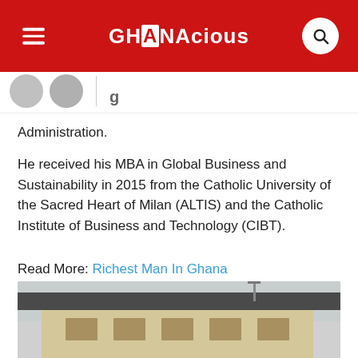GHANAcious
Administration.
He received his MBA in Global Business and Sustainability in 2015 from the Catholic University of the Sacred Heart of Milan (ALTIS) and the Catholic Institute of Business and Technology (CIBT).
Read More: Richest Man In Ghana
Bola Ray Networth
[Figure (photo): Partial view of a building exterior, cropped at bottom of page]